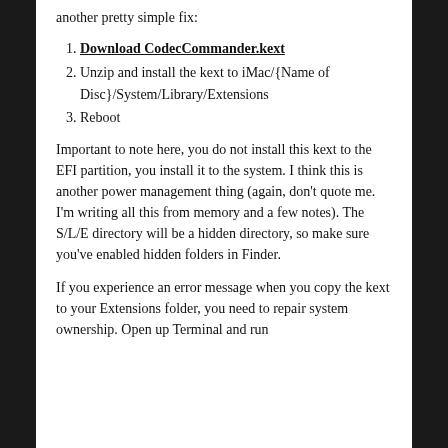another pretty simple fix:
Download CodecCommander.kext
Unzip and install the kext to iMac/{Name of Disc}/System/Library/Extensions
Reboot
Important to note here, you do not install this kext to the EFI partition, you install it to the system. I think this is another power management thing (again, don't quote me. I'm writing all this from memory and a few notes). The S/L/E directory will be a hidden directory, so make sure you've enabled hidden folders in Finder.
If you experience an error message when you copy the kext to your Extensions folder, you need to repair system ownership. Open up Terminal and run